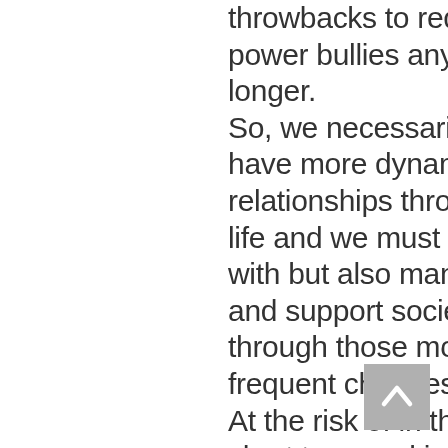throwbacks to red power bullies any longer. So, we necessarily have more dynamic relationships through life and we must live with but also manage and support society through those more frequent changes. At the risk of in the short term making things worse, we need